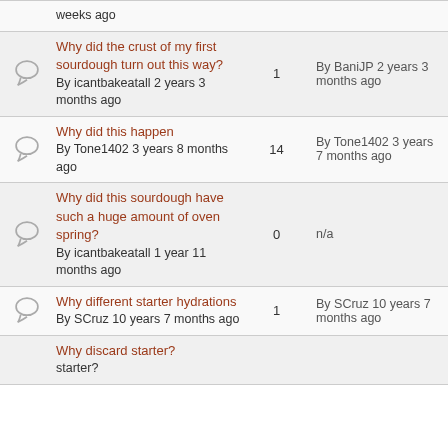weeks ago
Why did the crust of my first sourdough turn out this way? By icantbakeatall 2 years 3 months ago | 1 | By BaniJP 2 years 3 months ago
Why did this happen By Tone1402 3 years 8 months ago | 14 | By Tone1402 3 years 7 months ago
Why did this sourdough have such a huge amount of oven spring? By icantbakeatall 1 year 11 months ago | 0 | n/a
Why different starter hydrations By SCruz 10 years 7 months ago | 1 | By SCruz 10 years 7 months ago
Why discard starter?